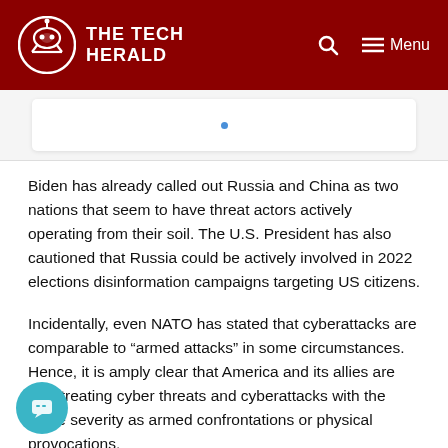THE TECH HERALD
[Figure (screenshot): Partial image strip showing a white rounded rectangle on a light gray background with a small blue dot in the center]
Biden has already called out Russia and China as two nations that seem to have threat actors actively operating from their soil. The U.S. President has also cautioned that Russia could be actively involved in 2022 elections disinformation campaigns targeting US citizens.
Incidentally, even NATO has stated that cyberattacks are comparable to “armed attacks” in some circumstances. Hence, it is amply clear that America and its allies are now treating cyber threats and cyberattacks with the same severity as armed confrontations or physical provocations.